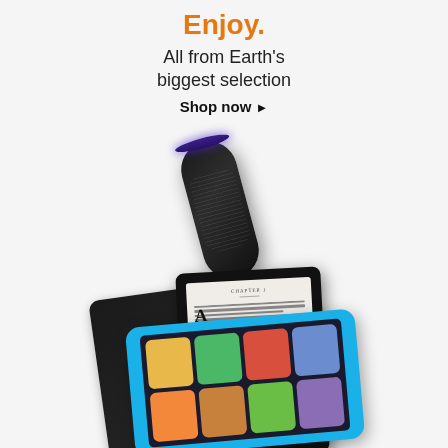Enjoy.
All from Earth's biggest selection
Shop now ▸
[Figure (photo): Amazon product advertisement showing an Amazon Echo smart speaker, Kindle e-readers, and a Fire Kids tablet arranged on a light gray background]